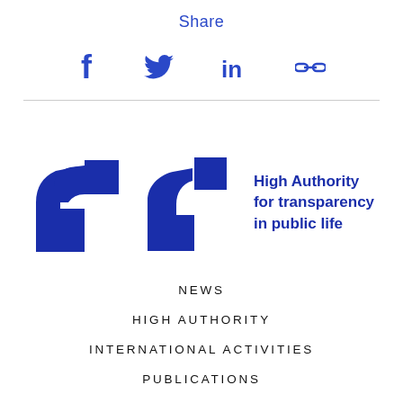Share
[Figure (infographic): Social media share icons: Facebook (f), Twitter (bird), LinkedIn (in), and a link/copy icon, displayed horizontally in blue]
[Figure (logo): High Authority for transparency in public life logo — blue geometric figure with text]
NEWS
HIGH AUTHORITY
INTERNATIONAL ACTIVITIES
PUBLICATIONS